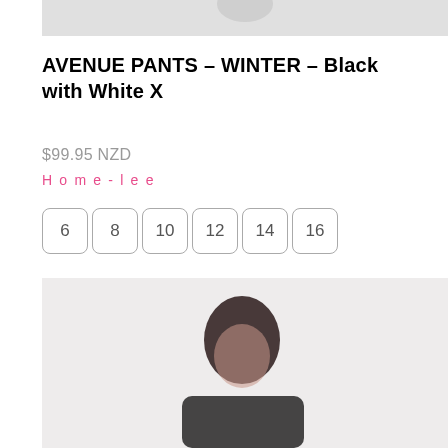[Figure (photo): Partial product photo showing bottom of clothing item, light gray background]
AVENUE PANTS – WINTER – Black with White X
$99.95 NZD
Home-lee
6
8
10
12
14
16
[Figure (photo): Woman with dark hair wearing black top, light gray background, cropped at torso/head area]